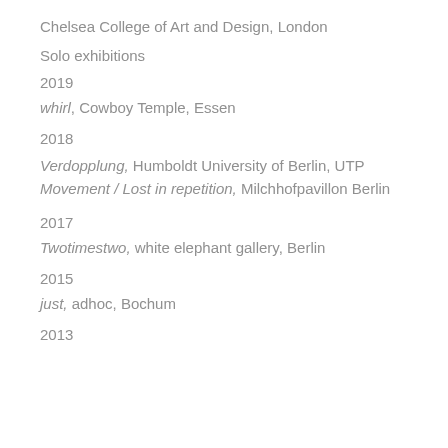Chelsea College of Art and Design, London
Solo exhibitions
2019
whirl, Cowboy Temple, Essen
2018
Verdopplung, Humboldt University of Berlin, UTP Movement / Lost in repetition, Milchhofpavillon Berlin
2017
Twotimestwo, white elephant gallery, Berlin
2015
just, adhoc, Bochum
2013